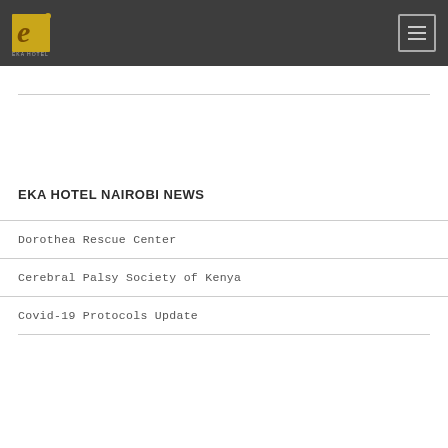EKA HOTEL
EKA HOTEL NAIROBI NEWS
Dorothea Rescue Center
Cerebral Palsy Society of Kenya
Covid-19 Protocols Update